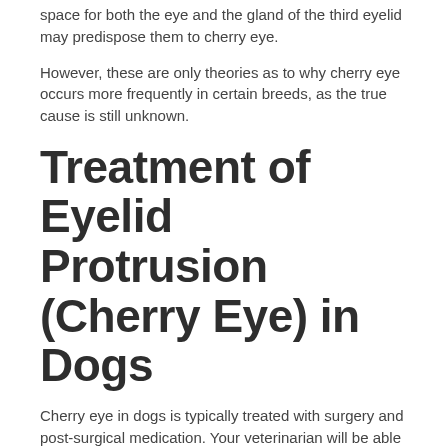space for both the eye and the gland of the third eyelid may predispose them to cherry eye.
However, these are only theories as to why cherry eye occurs more frequently in certain breeds, as the true cause is still unknown.
Treatment of Eyelid Protrusion (Cherry Eye) in Dogs
Cherry eye in dogs is typically treated with surgery and post-surgical medication. Your veterinarian will be able to determine the best course of action based on your pet's diagnosis.
Surgical Treatment
If left untreated, cherry eye can cause secondary